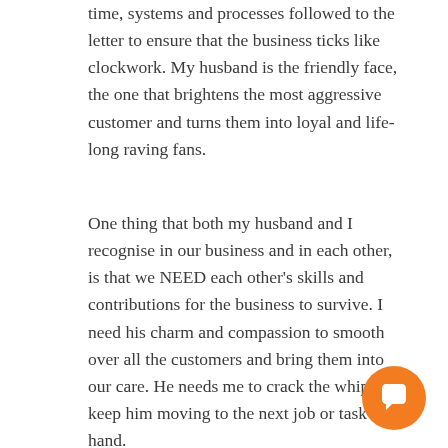time, systems and processes followed to the letter to ensure that the business ticks like clockwork. My husband is the friendly face, the one that brightens the most aggressive customer and turns them into loyal and life-long raving fans.
One thing that both my husband and I recognise in our business and in each other, is that we NEED each other's skills and contributions for the business to survive. I need his charm and compassion to smooth over all the customers and bring them into our care. He needs me to crack the whip and keep him moving to the next job or task at hand.